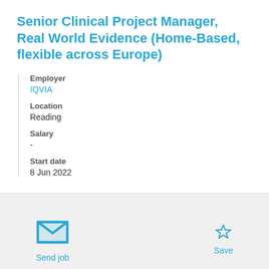Senior Clinical Project Manager, Real World Evidence (Home-Based, flexible across Europe)
Employer
IQVIA
Location
Reading
Salary
-
Start date
8 Jun 2022
Send job
Save